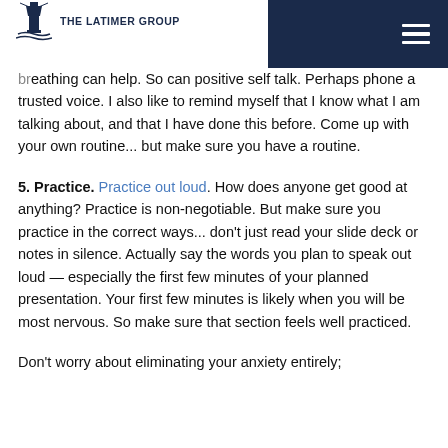THE LATIMER GROUP
breathing can help. So can positive self talk. Perhaps phone a trusted voice. I also like to remind myself that I know what I am talking about, and that I have done this before. Come up with your own routine... but make sure you have a routine.
5. Practice. Practice out loud. How does anyone get good at anything? Practice is non-negotiable. But make sure you practice in the correct ways... don't just read your slide deck or notes in silence. Actually say the words you plan to speak out loud — especially the first few minutes of your planned presentation. Your first few minutes is likely when you will be most nervous. So make sure that section feels well practiced.
Don't worry about eliminating your anxiety entirely;